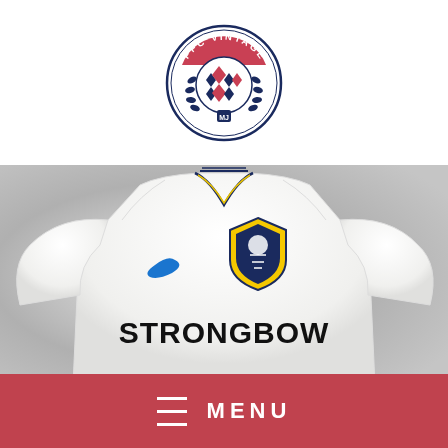[Figure (logo): PFC Vintage circular badge logo with diamond pattern, laurel wreath, and red/navy/white colors]
[Figure (photo): White Leeds United Nike football jersey with Strongbow sponsor, long-sleeved, displayed on a grey gradient background]
MENU